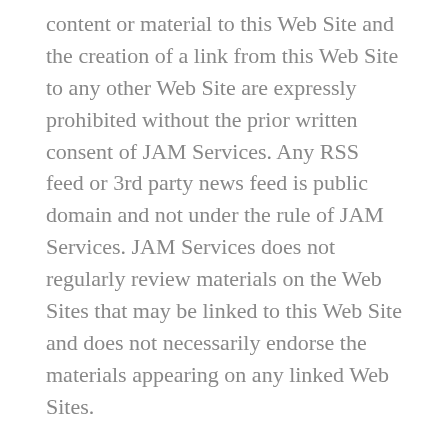content or material to this Web Site and the creation of a link from this Web Site to any other Web Site are expressly prohibited without the prior written consent of JAM Services. Any RSS feed or 3rd party news feed is public domain and not under the rule of JAM Services. JAM Services does not regularly review materials on the Web Sites that may be linked to this Web Site and does not necessarily endorse the materials appearing on any linked Web Sites.
JAM Services reserves the right to change these terms and conditions at any time by updating this posting. Use of this Web Site following any such changes shall constitute